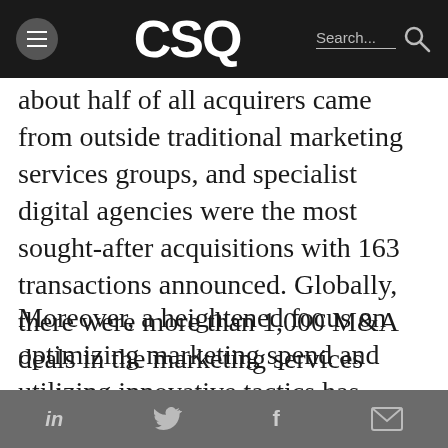CSQ
about half of all acquirers came from outside traditional marketing services groups, and specialist digital agencies were the most sought-after acquisitions with 163 transactions announced. Globally, there were more than 1,000 M&A deals in the marketing services sector.
Moreover, a heightened focus on optimizing marketing spend and utilizing innovative tactics has created opportunities for innovative groups to get a seat at the table with leading CMOs to assist in their campaigns. As a result, we see
in  f  ✉